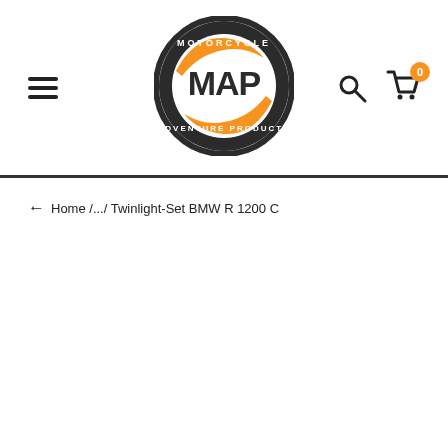[Figure (logo): Motorcycle MAP Adventure Products circular logo with orange and dark grey design]
← Home /.../ Twinlight-Set BMW R 1200 C